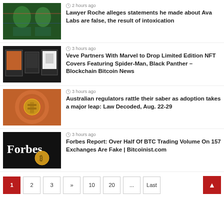2 hours ago — Lawyer Roche alleges statements he made about Ava Labs are false, the result of intoxication
3 hours ago — Veve Partners With Marvel to Drop Limited Edition NFT Covers Featuring Spider-Man, Black Panther – Blockchain Bitcoin News
3 hours ago — Australian regulators rattle their saber as adoption takes a major leap: Law Decoded, Aug. 22-29
3 hours ago — Forbes Report: Over Half Of BTC Trading Volume On 157 Exchanges Are Fake | Bitcoinist.com